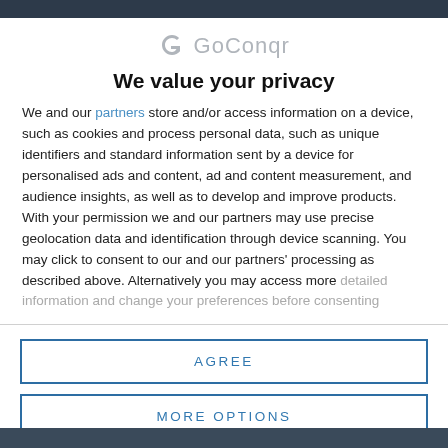GoConqr navigation bar (top)
[Figure (logo): GoConqr logo: a stylized 'G' icon in grey followed by the text 'GoConqr' in grey]
We value your privacy
We and our partners store and/or access information on a device, such as cookies and process personal data, such as unique identifiers and standard information sent by a device for personalised ads and content, ad and content measurement, and audience insights, as well as to develop and improve products. With your permission we and our partners may use precise geolocation data and identification through device scanning. You may click to consent to our and our partners' processing as described above. Alternatively you may access more detailed information and change your preferences before consenting
AGREE
MORE OPTIONS
GoConqr footer bar (bottom)